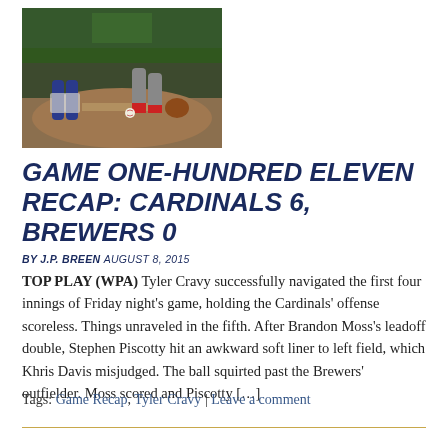[Figure (photo): Baseball players on field — catcher and fielder near the ground, action shot during game]
GAME ONE-HUNDRED ELEVEN RECAP: CARDINALS 6, BREWERS 0
BY J.P. BREEN AUGUST 8, 2015
TOP PLAY (WPA) Tyler Cravy successfully navigated the first four innings of Friday night's game, holding the Cardinals' offense scoreless. Things unraveled in the fifth. After Brandon Moss's leadoff double, Stephen Piscotty hit an awkward soft liner to left field, which Khris Davis misjudged. The ball squirted past the Brewers' outfielder. Moss scored and Piscotty [...]
Tags: Game Recap, Tyler Cravy | Leave a comment